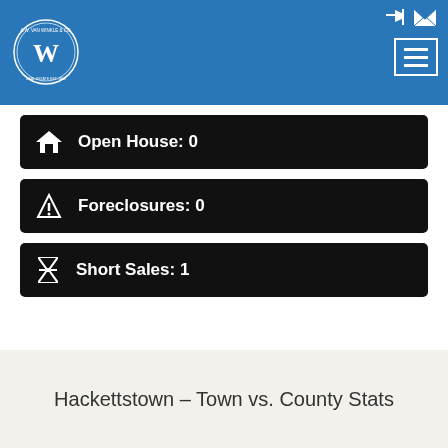A.W. Van Winkle & Co. Real Estate header with logo and navigation
Open House: 0
Foreclosures: 0
Short Sales: 1
Hackettstown - Town vs. County Stats